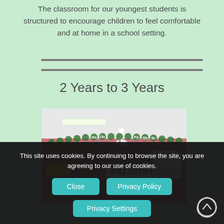The classroom for our youngest students is structured to encourage children to feel comfortable and at home in a school setting.
2 Years to 3 Years
[Figure (photo): Classroom photo showing a pink-walled room with alphabet letter decorations along the top of the wall and a WELCOME banner. A white pendant light hangs from the ceiling. Educational displays and a yellow sign are visible.]
This site uses cookies. By continuing to browse the site, you are agreeing to our use of cookies.